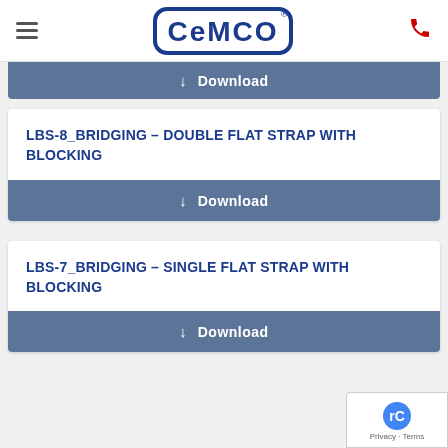CEMCO (logo)
↓ Download
LBS-8_BRIDGING – DOUBLE FLAT STRAP WITH BLOCKING
↓ Download
LBS-7_BRIDGING – SINGLE FLAT STRAP WITH BLOCKING
↓ Download